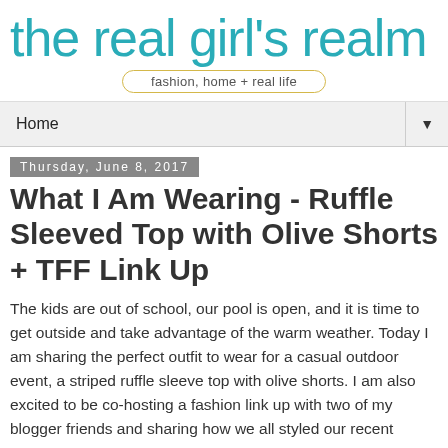the real girl's realm
fashion, home + real life
Home
Thursday, June 8, 2017
What I Am Wearing - Ruffle Sleeved Top with Olive Shorts + TFF Link Up
The kids are out of school, our pool is open, and it is time to get outside and take advantage of the warm weather. Today I am sharing the perfect outfit to wear for a casual outdoor event, a striped ruffle sleeve top with olive shorts. I am also excited to be co-hosting a fashion link up with two of my blogger friends and sharing how we all styled our recent